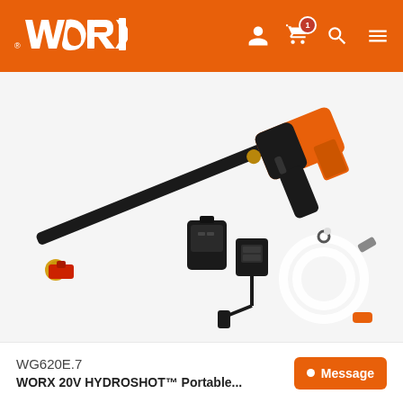[Figure (logo): WORX brand logo in white on orange header background]
[Figure (photo): WORX 20V HYDROSHOT portable pressure washer product photo showing the gun/wand, a red nozzle tip, battery and charger, and a white coiled hose with connectors, all on a white/light gray background]
WG620E.7
Message
WORX 20V HYDROSHOT™ Portable...